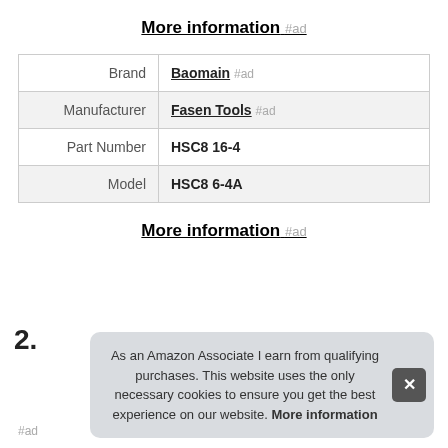More information #ad
|  |  |
| --- | --- |
| Brand | Baomain #ad |
| Manufacturer | Fasen Tools #ad |
| Part Number | HSC8 16-4 |
| Model | HSC8 6-4A |
More information #ad
2.
As an Amazon Associate I earn from qualifying purchases. This website uses the only necessary cookies to ensure you get the best experience on our website. More information
#ad